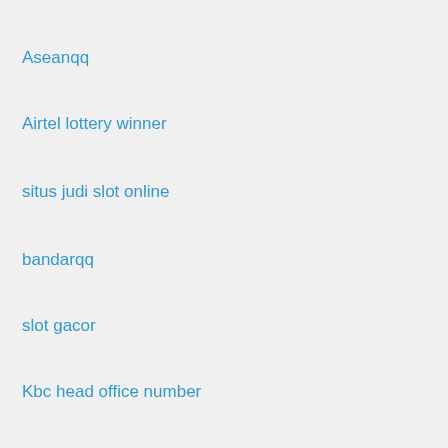Aseanqq
Airtel lottery winner
situs judi slot online
bandarqq
slot gacor
Kbc head office number
truc tiep bong da